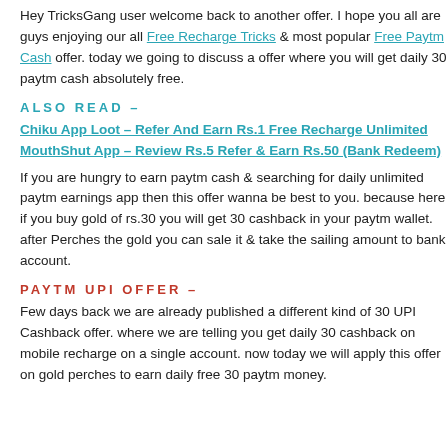Hey TricksGang user welcome back to another offer. I hope you all are guys enjoying our all Free Recharge Tricks & most popular Free Paytm Cash offer. today we going to discuss a offer where you will get daily 30 paytm cash absolutely free.
ALSO READ –
Chiku App Loot – Refer And Earn Rs.1 Free Recharge Unlimited
MouthShut App – Review Rs.5 Refer & Earn Rs.50 (Bank Redeem)
If you are hungry to earn paytm cash & searching for daily unlimited paytm earnings app then this offer wanna be best to you. because here if you buy gold of rs.30 you will get 30 cashback in your paytm wallet. after Perches the gold you can sale it & take the sailing amount to bank account.
PAYTM UPI OFFER –
Few days back we are already published a different kind of 30 UPI Cashback offer. where we are telling you get daily 30 cashback on mobile recharge on a single account. now today we will apply this offer on gold perches to earn daily free 30 paytm money.